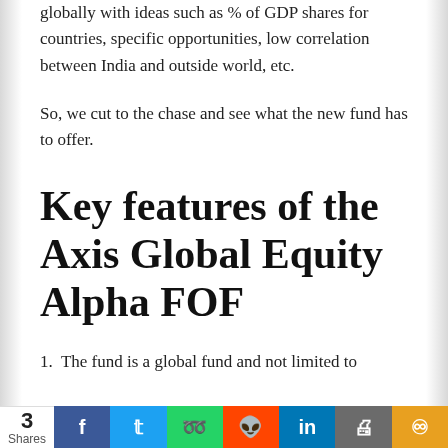globally with ideas such as % of GDP shares for countries, specific opportunities, low correlation between India and outside world, etc.
So, we cut to the chase and see what the new fund has to offer.
Key features of the Axis Global Equity Alpha FOF
1. The fund is a global fund and not limited to